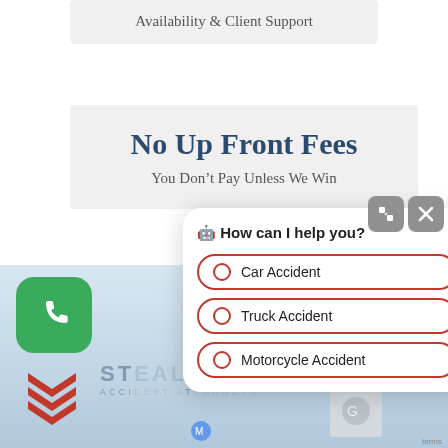Availability & Client Support
No Up Front Fees
You Don't Pay Unless We Win
[Figure (screenshot): Website screenshot showing a chat widget overlay on a law firm website (Stealth Fox Accident Attorneys). The chat widget shows the question 'How can I help you?' with three radio-button options: Car Accident, Truck Accident, Motorcycle Accident, and a partially visible fourth option. The background shows a phone call icon, law firm logo, and reCAPTCHA widget.]
Car Accident
Truck Accident
Motorcycle Accident